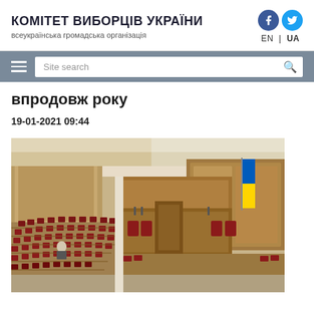КОМІТЕТ ВИБОРЦІВ УКРАЇНИ
всеукраїнська громадська організація
впродовж року
19-01-2021 09:44
[Figure (photo): Interior of the Verkhovna Rada (Ukrainian parliament) chamber — wooden desks and red chairs in curved rows, the elevated presidium with Ukrainian flag, largely empty hall with one visible person.]